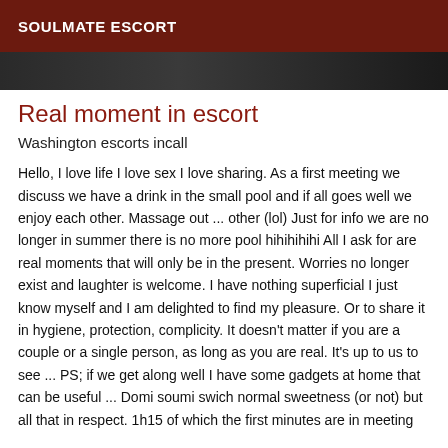SOULMATE ESCORT
[Figure (photo): Dark photograph strip, partial view of a dark scene]
Real moment in escort
Washington escorts incall
Hello, I love life I love sex I love sharing. As a first meeting we discuss we have a drink in the small pool and if all goes well we enjoy each other. Massage out ... other (lol) Just for info we are no longer in summer there is no more pool hihihihihi All I ask for are real moments that will only be in the present. Worries no longer exist and laughter is welcome. I have nothing superficial I just know myself and I am delighted to find my pleasure. Or to share it in hygiene, protection, complicity. It doesn't matter if you are a couple or a single person, as long as you are real. It's up to us to see ... PS; if we get along well I have some gadgets at home that can be useful ... Domi soumi swich normal sweetness (or not) but all that in respect. 1h15 of which the first minutes are in meeting